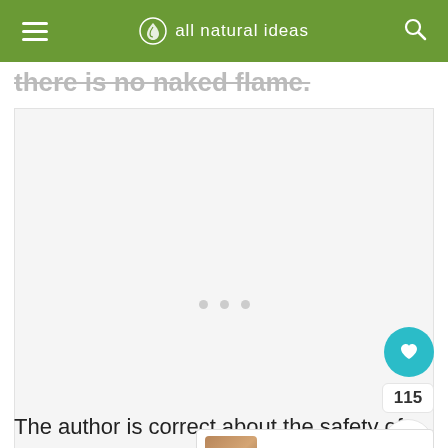all natural ideas
there is no naked flame.
[Figure (other): Advertisement placeholder box with loading dots]
The author is correct about the safety of